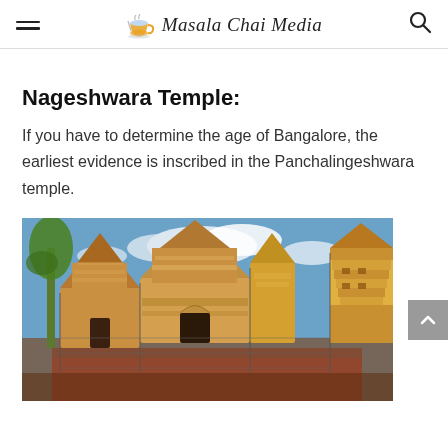Masala Chai Media
Nageshwara Temple:
If you have to determine the age of Bangalore, the earliest evidence is inscribed in the Panchalingeshwara temple.
[Figure (photo): Photograph of Nageshwara Temple (Panchalingeshwara temple), a South Indian temple complex with ornate gopurams, stone carvings, and construction scaffolding, under a partly cloudy blue sky with a palm tree visible on the left.]